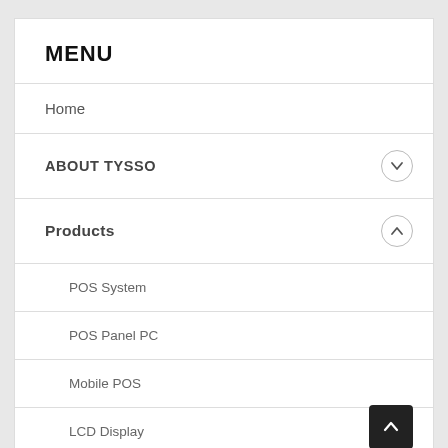MENU
Home
ABOUT TYSSO
Products
POS System
POS Panel PC
Mobile POS
LCD Display
Receipt Printer